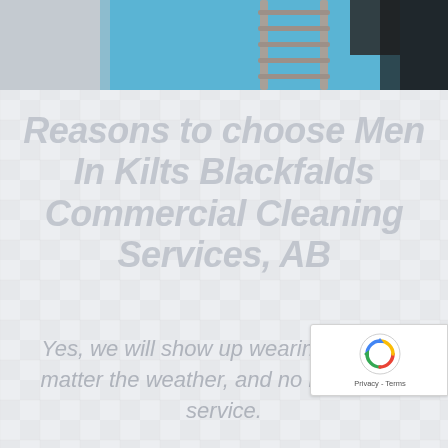[Figure (photo): Partial view of a ladder against a blue surface, person partially visible at top, cropped at top of page]
Reasons to choose Men In Kilts Blackfalds Commercial Cleaning Services, AB
Yes, we will show up wearing kilts, no matter the weather, and no matter the service.
[Figure (other): Google reCAPTCHA widget overlay showing recycling arrows logo and Privacy - Terms text]